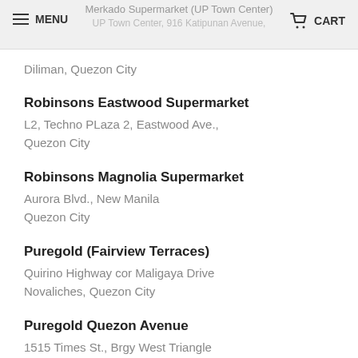Merkado Supermarket (UP Town Center)
UP Town Center, 916 Katipunan Avenue,
Diliman, Quezon City
Diliman, Quezon City
Robinsons Eastwood Supermarket
L2, Techno PLaza 2, Eastwood Ave.,
Quezon City
Robinsons Magnolia Supermarket
Aurora Blvd., New Manila
Quezon City
Puregold (Fairview Terraces)
Quirino Highway cor Maligaya Drive
Novaliches, Quezon City
Puregold Quezon Avenue
1515 Times St., Brgy West Triangle